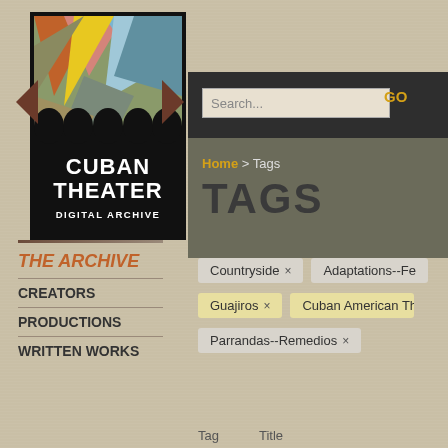[Figure (logo): Cuban Theater Digital Archive logo with colorful geometric design above black silhouette of arched buildings and white text reading CUBAN THEATER DIGITAL ARCHIVE]
THE ARCHIVE
CREATORS
PRODUCTIONS
WRITTEN WORKS
Home > Tags
TAGS
Countryside ×
Adaptations--Fe
Guajiros ×
Cuban American Th
Parrandas--Remedios ×
Tag	Title